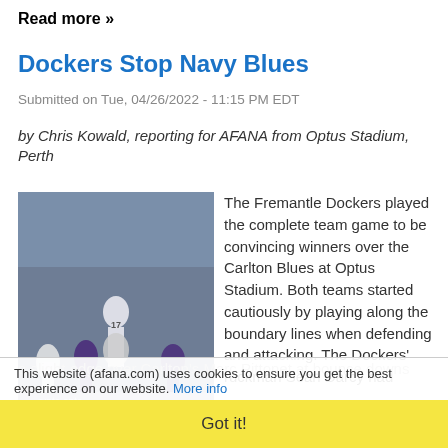Read more »
Dockers Stop Navy Blues
Submitted on Tue, 04/26/2022 - 11:15 PM EDT
by Chris Kowald, reporting for AFANA from Optus Stadium, Perth
[Figure (photo): AFL football match action photo showing players from Fremantle Dockers (purple) and Carlton Blues (white) with a player leaping high. Taken at Optus Stadium with crowd in background.]
Tom De Koning flies
The Fremantle Dockers played the complete team game to be convincing winners over the Carlton Blues at Optus Stadium. Both teams started cautiously by playing along the boundary lines when defending and attacking. The Dockers' ruckman Sean Darcy had a slight edge over Carlton's Marc Pittonet at bounce downs
This website (afana.com) uses cookies to ensure you get the best experience on our website. More info
Got it!